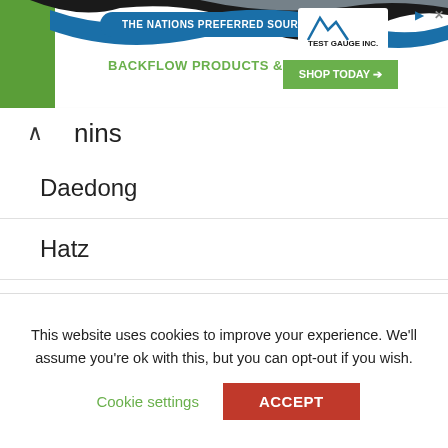[Figure (screenshot): Advertisement banner for Test Gauge Inc. - backflow products and services. Blue pill-shaped element with text 'THE NATIONS PREFERRED SOURCE FOR', green text 'BACKFLOW PRODUCTS & SERVICES', Test Gauge Inc. logo, and green 'SHOP TODAY' button.]
nins
Daedong
Hatz
Honda
International Harvester
Kama
Kawasaki
King Canada
This website uses cookies to improve your experience. We'll assume you're ok with this, but you can opt-out if you wish.
Cookie settings  ACCEPT